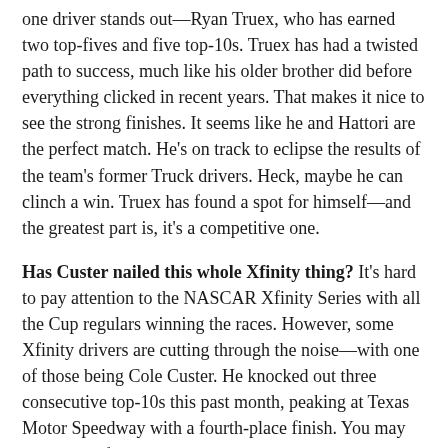one driver stands out—Ryan Truex, who has earned two top-fives and five top-10s. Truex has had a twisted path to success, much like his older brother did before everything clicked in recent years. That makes it nice to see the strong finishes. It seems like he and Hattori are the perfect match. He's on track to eclipse the results of the team's former Truck drivers. Heck, maybe he can clinch a win. Truex has found a spot for himself—and the greatest part is, it's a competitive one.
Has Custer nailed this whole Xfinity thing? It's hard to pay attention to the NASCAR Xfinity Series with all the Cup regulars winning the races. However, some Xfinity drivers are cutting through the noise—with one of those being Cole Custer. He knocked out three consecutive top-10s this past month, peaking at Texas Motor Speedway with a fourth-place finish. You may expect this from Custer, who impressed last season in his CWTS ride, but this is Stewart-Haas Racing's first year in NXS. To be fair, the team had a rough start, but it's leveled off as of late. Custer is adjusting to the stock car style, and I see him becoming a weekly contender by the end of this season.